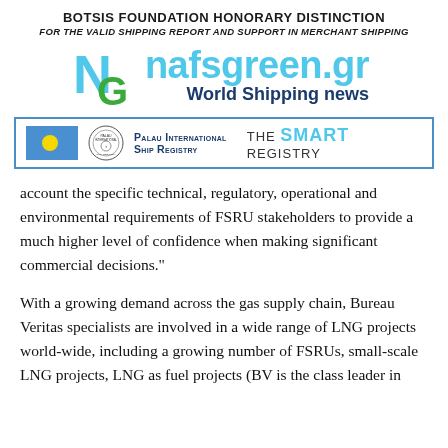BOTSIS FOUNDATION HONORARY DISTINCTION
FOR THE VALID SHIPPING REPORT AND SUPPORT IN MERCHANT SHIPPING
[Figure (logo): nafsgreen.gr logo with NG monogram in cyan/green and site name in cyan with tagline 'World Shipping news' in dark blue]
[Figure (logo): Palau International Ship Registry banner with Palau flag, official seal, registry name and 'THE SMART REGISTRY' tagline]
account the specific technical, regulatory, operational and environmental requirements of FSRU stakeholders to provide a much higher level of confidence when making significant commercial decisions."
With a growing demand across the gas supply chain, Bureau Veritas specialists are involved in a wide range of LNG projects world-wide, including a growing number of FSRUs, small-scale LNG projects, LNG as fuel projects (BV is the class leader in